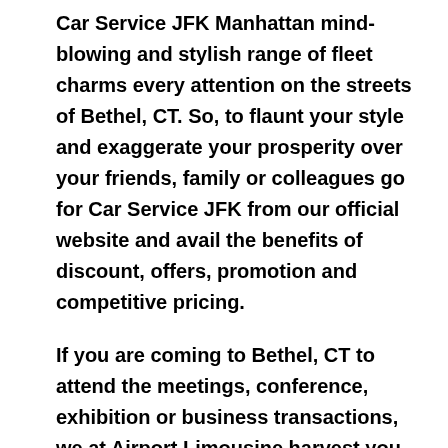Car Service JFK Manhattan mind-blowing and stylish range of fleet charms every attention on the streets of Bethel, CT. So, to flaunt your style and exaggerate your prosperity over your friends, family or colleagues go for Car Service JFK from our official website and avail the benefits of discount, offers, promotion and competitive pricing.
If you are coming to Bethel, CT to attend the meetings, conference, exhibition or business transactions, we at Airport Limousine harvest you the most astonishing and premium car service to boast your affluence and style. With JFK car service, you get the most generous, uniformed, and highly professional chauffeur service with convenience and private ride towards your